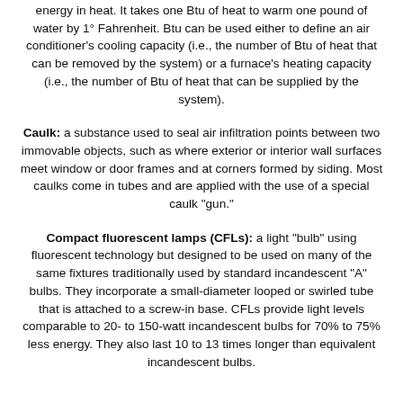energy in heat. It takes one Btu of heat to warm one pound of water by 1° Fahrenheit. Btu can be used either to define an air conditioner's cooling capacity (i.e., the number of Btu of heat that can be removed by the system) or a furnace's heating capacity (i.e., the number of Btu of heat that can be supplied by the system).
Caulk: a substance used to seal air infiltration points between two immovable objects, such as where exterior or interior wall surfaces meet window or door frames and at corners formed by siding. Most caulks come in tubes and are applied with the use of a special caulk "gun."
Compact fluorescent lamps (CFLs): a light "bulb" using fluorescent technology but designed to be used on many of the same fixtures traditionally used by standard incandescent "A" bulbs. They incorporate a small-diameter looped or swirled tube that is attached to a screw-in base. CFLs provide light levels comparable to 20- to 150-watt incandescent bulbs for 70% to 75% less energy. They also last 10 to 13 times longer than equivalent incandescent bulbs.